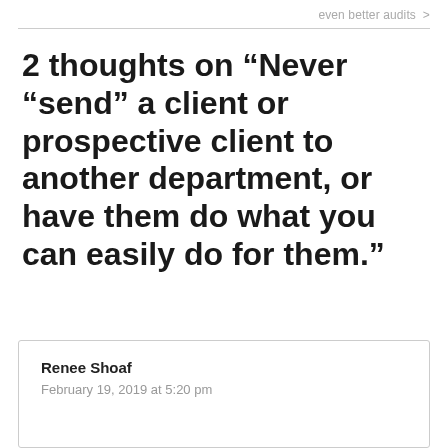even better audits >
2 thoughts on “Never “send” a client or prospective client to another department, or have them do what you can easily do for them.”
Renee Shoaf
February 19, 2019 at 5:20 pm